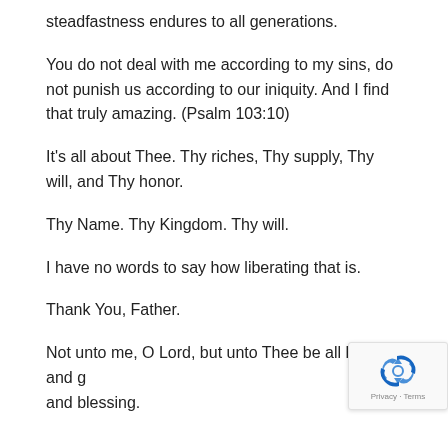steadfastness endures to all generations.
You do not deal with me according to my sins, do not punish us according to our iniquity.  And I find that truly amazing. (Psalm 103:10)
It's all about Thee.  Thy riches, Thy supply, Thy will, and Thy honor.
Thy Name. Thy Kingdom.  Thy will.
I have no words to say how liberating that is.
Thank You, Father.
Not unto me, O Lord, but unto Thee be all honor and g and blessing.